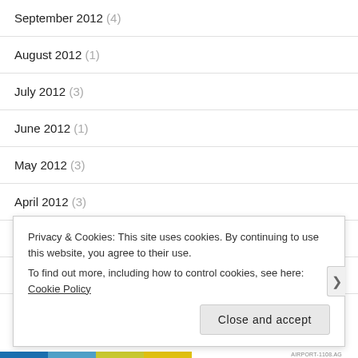September 2012 (4)
August 2012 (1)
July 2012 (3)
June 2012 (1)
May 2012 (3)
April 2012 (3)
March 2012 (2)
February 2012 (2)
January 2012 (4)
Privacy & Cookies: This site uses cookies. By continuing to use this website, you agree to their use. To find out more, including how to control cookies, see here: Cookie Policy
AIRPORT-1108.AG